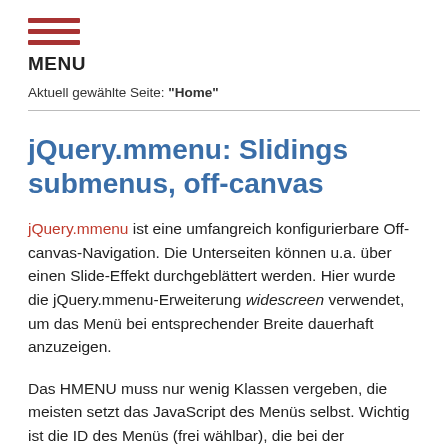MENU
Aktuell gewählte Seite: "Home"
jQuery.mmenu: Slidings submenus, off-canvas
jQuery.mmenu ist eine umfangreich konfigurierbare Off-canvas-Navigation. Die Unterseiten können u.a. über einen Slide-Effekt durchgeblättert werden. Hier wurde die jQuery.mmenu-Erweiterung widescreen verwendet, um das Menü bei entsprechender Breite dauerhaft anzuzeigen.
Das HMENU muss nur wenig Klassen vergeben, die meisten setzt das JavaScript des Menüs selbst. Wichtig ist die ID des Menüs (frei wählbar), die bei der Initialisierung